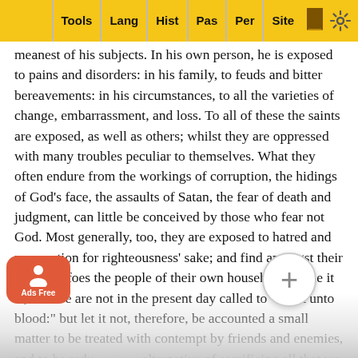Tools | Lang | Hist | Pas | Per | Site
meanest of his subjects. In his own person, he is exposed to pains and disorders: in his family, to feuds and bitter bereavements: in his circumstances, to all the varieties of change, embarrassment, and loss. To all of these the saints are exposed, as well as others; whilst they are oppressed with many troubles peculiar to themselves. What they often endure from the workings of corruption, the hidings of God’s face, the assaults of Satan, the fear of death and judgment, can little be conceived by those who fear not God. Most generally, too, they are exposed to hatred and persecution for righteousness’ sake; and find amongst their “greatest foes the people of their own household.” True it is, that we are not in the present day called to “resist unto blood:” but let it not, therefore, be accounted a small matter to be treated with contempt by friends and enemies, and to be reduced to the alternative of sacrificing all that we hold dear in this life, or the hopes and prospects of a better. These are great and heavy [confо …hem.]